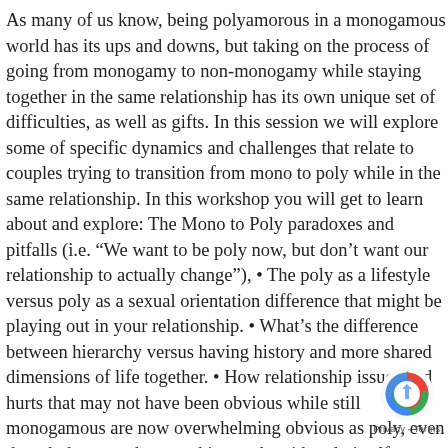As many of us know, being polyamorous in a monogamous world has its ups and downs, but taking on the process of going from monogamy to non-monogamy while staying together in the same relationship has its own unique set of difficulties, as well as gifts. In this session we will explore some of specific dynamics and challenges that relate to couples trying to transition from mono to poly while in the same relationship. In this workshop you will get to learn about and explore: The Mono to Poly paradoxes and pitfalls (i.e. “We want to be poly now, but don’t want our relationship to actually change”), • The poly as a lifestyle versus poly as a sexual orientation difference that might be playing out in your relationship. • What’s the difference between hierarchy versus having history and more shared dimensions of life together. • How relationship issues and hurts that may not have been obvious while still monogamous are now overwhelming obvious as poly, even though they may have nothing to do with poly itself.
[Figure (logo): reCAPTCHA badge with circular arrow icon and Privacy - Terms text]